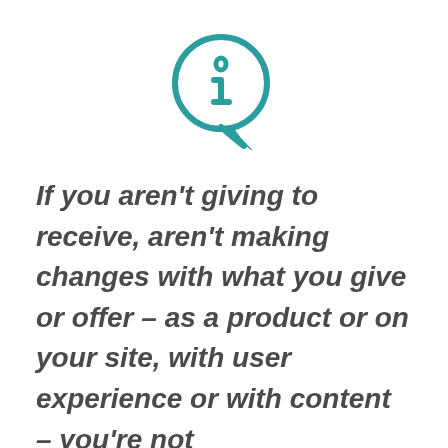[Figure (illustration): Teal speech bubble icon with a lowercase 'i' information symbol inside]
If you aren't giving to receive, aren't making changes with what you give or offer – as a product or on your site, with user experience or with content – you're not